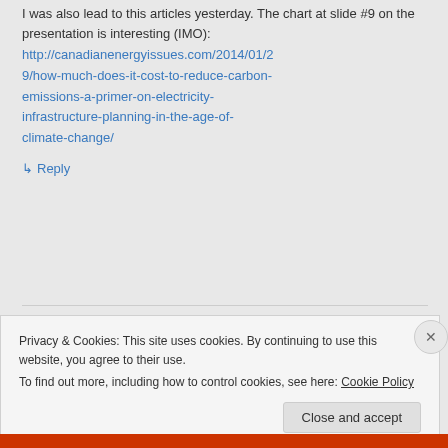I was also lead to this articles yesterday. The chart at slide #9 on the presentation is interesting (IMO):
http://canadianenergyissues.com/2014/01/29/how-much-does-it-cost-to-reduce-carbon-emissions-a-primer-on-electricity-infrastructure-planning-in-the-age-of-climate-change/
↳ Reply
Privacy & Cookies: This site uses cookies. By continuing to use this website, you agree to their use.
To find out more, including how to control cookies, see here: Cookie Policy
Close and accept